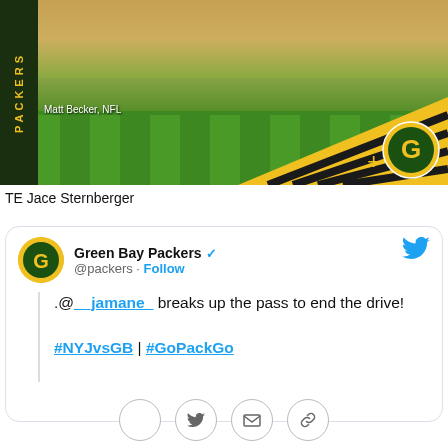[Figure (photo): NFL Green Bay Packers football game action photo showing players on the field. A PACKERS vertical banner is on the left side. Bottom right shows gold diagonal stripes and the Packers logo. Photo credit: Matt Becker, NFL]
TE Jace Sternberger
Green Bay Packers @packers · Follow .@__jamane__ breaks up the pass to end the drive!

#NYJvsGB | #GoPackGo